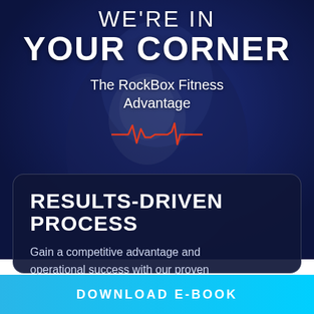[Figure (photo): Background photo of a boxer/fitness athlete in blue gear punching toward camera, overlaid with dark blue gradient]
WE'RE IN YOUR CORNER
The RockBox Fitness Advantage
[Figure (illustration): Red heartbeat/EKG waveform line graphic]
RESULTS-DRIVEN PROCESS
Gain a competitive advantage and operational success with our proven business model and industry support.
DOWNLOAD E-BOOK